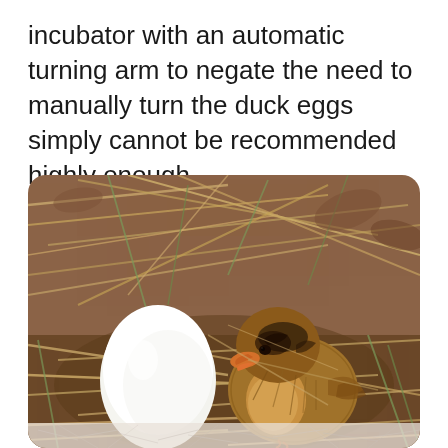incubator with an automatic turning arm to negate the need to manually turn the duck eggs simply cannot be recommended highly enough.
[Figure (photo): A newly hatched duck chick with fluffy, brown and orange feathers sits in a nest of dry straw and hay, next to a whole white egg. The background shows scattered dried grass and brown leaves.]